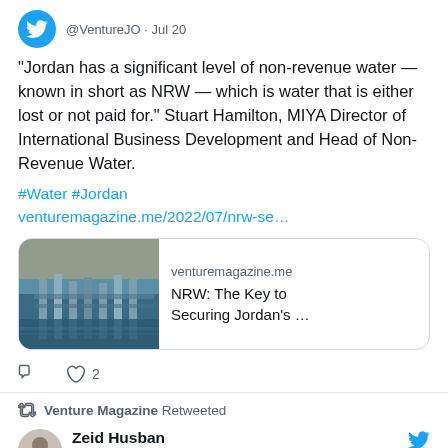@VentureJO · Jul 20
"Jordan has a significant level of non-revenue water — known in short as NRW — which is water that is either lost or not paid for." Stuart Hamilton, MIYA Director of International Business Development and Head of Non-Revenue Water.
#Water #Jordan venturemagazine.me/2022/07/nrw-se...
[Figure (screenshot): Link preview card showing a water treatment facility image with domain venturemagazine.me and title 'NRW: The Key to Securing Jordan's ...']
2 likes
Venture Magazine Retweeted
Zeid Husban @Zeid_Husban · Jul 11